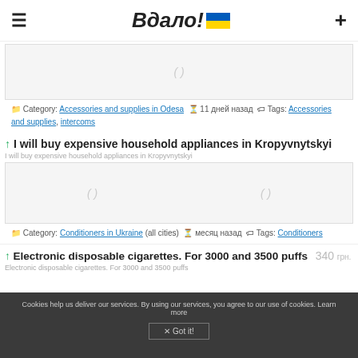Вдало!
[Figure (screenshot): Listing image placeholder with parentheses symbol]
Category: Accessories and supplies in Odesa  11 дней назад  Tags: Accessories and supplies, intercoms
↑ I will buy expensive household appliances in Kropyvnytskyi
I will buy expensive household appliances in Kropyvnytskyi
[Figure (screenshot): Listing image placeholder with two parentheses symbols]
Category: Conditioners in Ukraine (all cities)  месяц назад  Tags: Conditioners
↑ Electronic disposable cigarettes. For 3000 and 3500 puffs  340 грн.
Electronic disposable cigarettes. For 3000 and 3500 puffs
Cookies help us deliver our services. By using our services, you agree to our use of cookies. Learn more